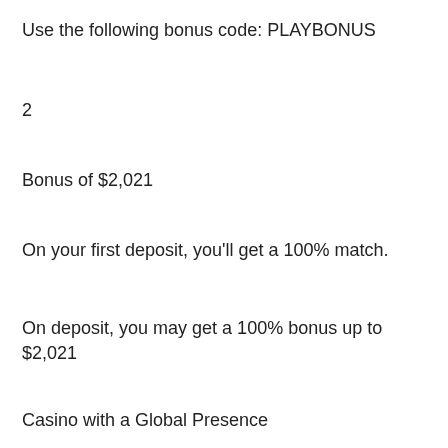Use the following bonus code: PLAYBONUS
2
Bonus of $2,021
On your first deposit, you'll get a 100% match.
On deposit, you may get a 100% bonus up to $2,021
Casino with a Global Presence